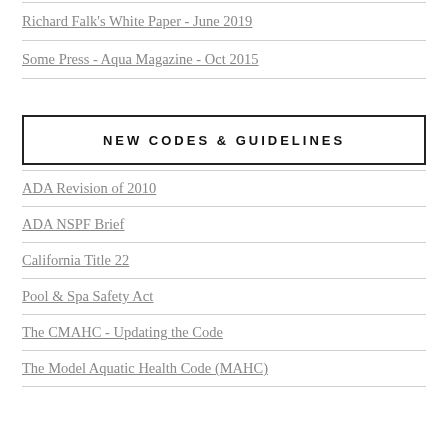Richard Falk's White Paper - June 2019
Some Press - Aqua Magazine - Oct 2015
NEW CODES & GUIDELINES
ADA Revision of 2010
ADA NSPF Brief
California Title 22
Pool & Spa Safety Act
The CMAHC - Updating the Code
The Model Aquatic Health Code (MAHC)